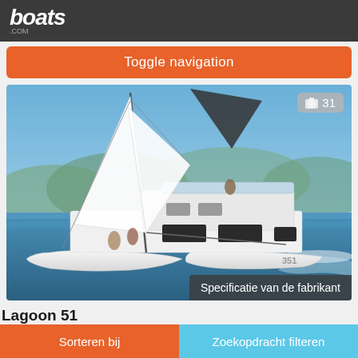boats.com
Toggle navigation
[Figure (photo): A Lagoon 51 catamaran sailing on blue water with white sails raised, mountains in background, people visible on deck. Badge showing camera icon and '31' in top right. 'Specificatie van de fabrikant' label in bottom right.]
Lagoon 51
€‎‎‎
Sorteren bij | Zoekopdracht filteren